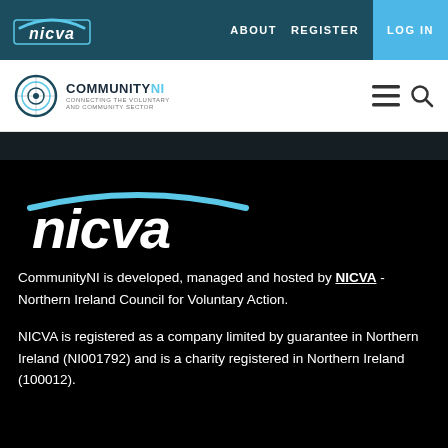nicva | ABOUT | REGISTER | LOG IN
[Figure (logo): CommunityNI logo with circular icon and tagline 'Connecting the Voluntary and Community Sector']
[Figure (logo): NICVA logo - large white italic bold text with cyan arc above on black background]
CommunityNI is developed, managed and hosted by NICVA - Northern Ireland Council for Voluntary Action.
NICVA is registered as a company limited by guarantee in Northern Ireland (NI001792) and is a charity registered in Northern Ireland (100012).